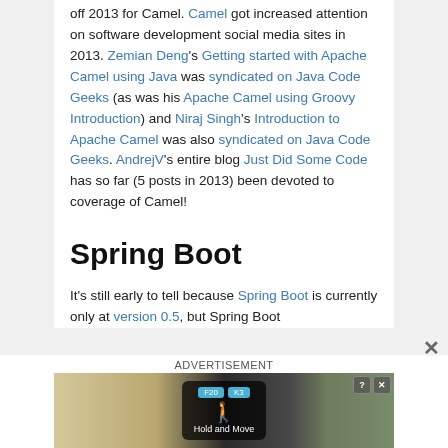off 2013 for Camel. Camel got increased attention on software development social media sites in 2013. Zemian Deng's Getting started with Apache Camel using Java was syndicated on Java Code Geeks (as was his Apache Camel using Groovy Introduction) and Niraj Singh's Introduction to Apache Camel was also syndicated on Java Code Geeks. AndrejV's entire blog Just Did Some Code has so far (5 posts in 2013) been devoted to coverage of Camel!
Spring Boot
It's still early to tell because Spring Boot is currently only at version 0.5, but Spring Boot
[Figure (screenshot): Advertisement banner showing a mobile app called 'Hold and Move' with a dark background, human figure icon in blue, and tab buttons labeled F20 and K3. Ad controls (question mark and X) visible in top right.]